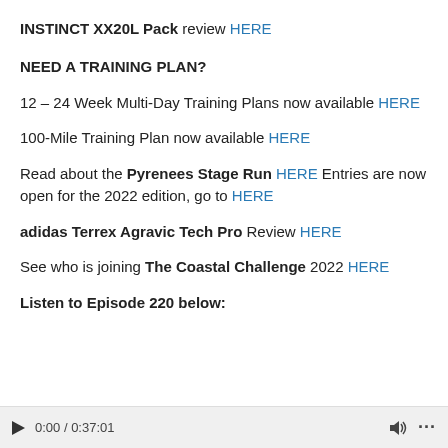INSTINCT XX20L Pack review HERE
NEED A TRAINING PLAN?
12 – 24 Week Multi-Day Training Plans now available HERE
100-Mile Training Plan now available HERE
Read about the Pyrenees Stage Run HERE Entries are now open for the 2022 edition, go to HERE
adidas Terrex Agravic Tech Pro Review HERE
See who is joining The Coastal Challenge 2022 HERE
Listen to Episode 220 below:
[Figure (other): Audio player bar with play button, timestamp 0:00 / 0:37:01, speaker/volume icon, and options dot menu]